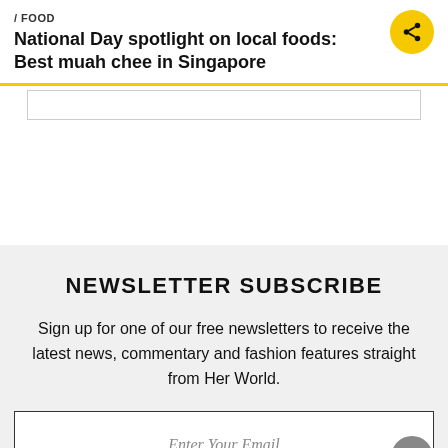/ FOOD
National Day spotlight on local foods: Best muah chee in Singapore
NEWSLETTER SUBSCRIBE
Sign up for one of our free newsletters to receive the latest news, commentary and fashion features straight from Her World.
Enter Your Email
FILL ME IN!